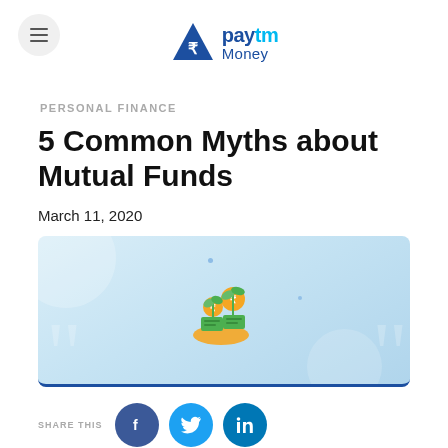[Figure (logo): Paytm Money logo with blue triangle/rupee symbol and wordmark]
PERSONAL FINANCE
5 Common Myths about Mutual Funds
March 11, 2020
[Figure (illustration): Illustration of hand holding coin with plant and money growing, on light blue background]
SHARE THIS